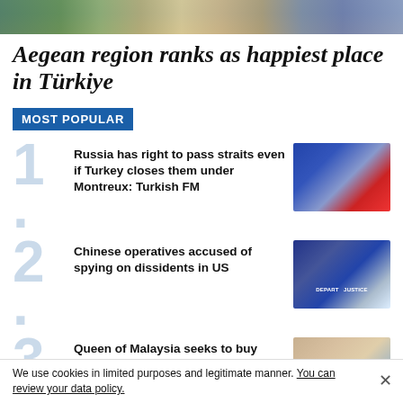[Figure (photo): Top banner photo showing outdoor scene]
Aegean region ranks as happiest place in Türkiye
MOST POPULAR
Russia has right to pass straits even if Turkey closes them under Montreux: Turkish FM
[Figure (photo): Turkish Foreign Minister at podium with Turkish flag]
Chinese operatives accused of spying on dissidents in US
[Figure (photo): Man speaking at US Department of Justice podium]
Queen of Malaysia seeks to buy house in Cappadocia
[Figure (photo): Two people standing outdoors in Cappadocia landscape]
We use cookies in limited purposes and legitimate manner. You can review your data policy.